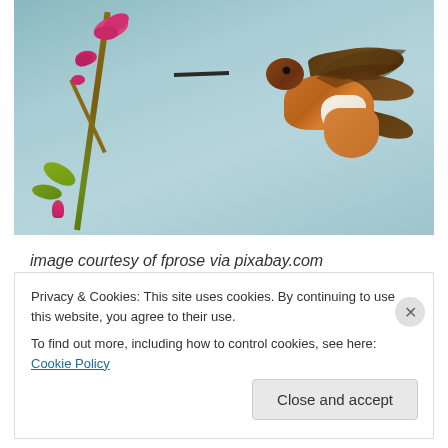[Figure (photo): A rufous hummingbird hovering in mid-air, its long beak pointing toward pink salvia flowers on a green-brown stem. The background is soft blue-grey. The bird has orange-brown and white plumage with dark wings.]
image courtesy of fprose via pixabay.com
Privacy & Cookies: This site uses cookies. By continuing to use this website, you agree to their use.
To find out more, including how to control cookies, see here: Cookie Policy
Close and accept